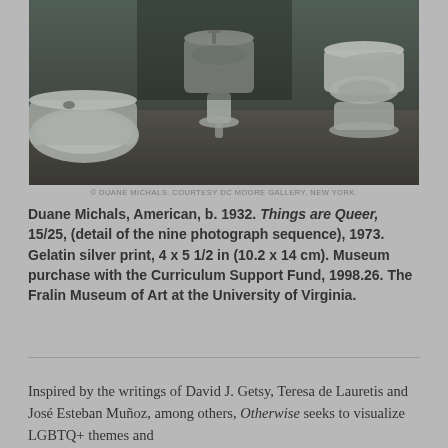[Figure (photo): Black and white photograph of bathroom fixtures including a bathtub, pedestal sink, and toilet on a tile floor]
© DUANE MICHALS. COURTESY DC MOORE GALLERY, NEW YORK.
Duane Michals, American, b. 1932. Things are Queer, 15/25, (detail of the nine photograph sequence), 1973. Gelatin silver print, 4 x 5 1/2 in (10.2 x 14 cm). Museum purchase with the Curriculum Support Fund, 1998.26. The Fralin Museum of Art at the University of Virginia.
Inspired by the writings of David J. Getsy, Teresa de Lauretis and José Esteban Muñoz, among others, Otherwise seeks to visualize LGBTQ+ themes and